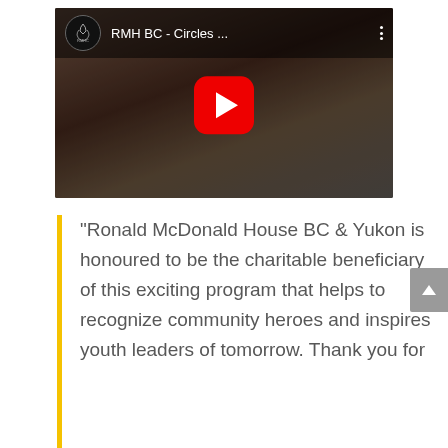[Figure (screenshot): YouTube video embed showing RMH BC - Circles ... with a red play button overlay on a dark background showing two people, with the RMHC logo and video title in the top bar]
“Ronald McDonald House BC & Yukon is honoured to be the charitable beneficiary of this exciting program that helps to recognize community heroes and inspires youth leaders of tomorrow. Thank you for